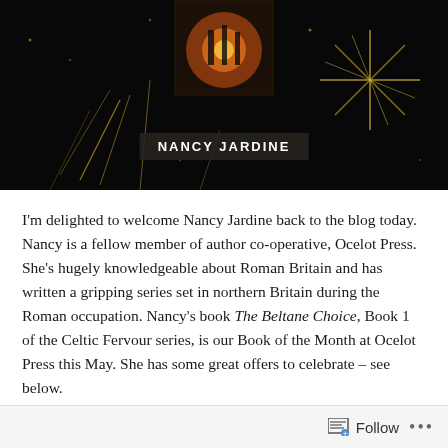[Figure (photo): Dark background with golden fireworks and sparks. A book cover image is partially visible at the top center. A name badge reads 'NANCY JARDINE' in white bold letters on a dark semi-transparent background.]
I'm delighted to welcome Nancy Jardine back to the blog today. Nancy is a fellow member of author co-operative, Ocelot Press. She's hugely knowledgeable about Roman Britain and has written a gripping series set in northern Britain during the Roman occupation. Nancy's book The Beltane Choice, Book 1 of the Celtic Fervour series, is our Book of the Month at Ocelot Press this May. She has some great offers to celebrate – see below.
Nancy has written a fascinating post for us about the status and place of women 2,000 years ago and their role
Follow ...